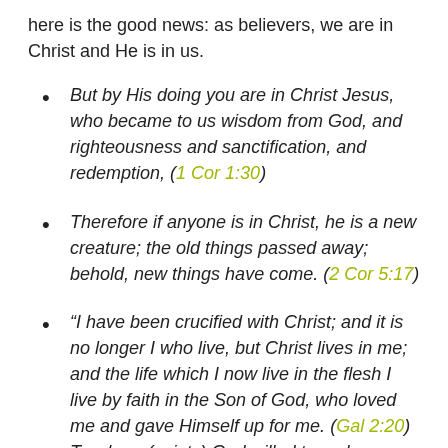here is the good news: as believers, we are in Christ and He is in us.
But by His doing you are in Christ Jesus, who became to us wisdom from God, and righteousness and sanctification, and redemption, (1 Cor 1:30)
Therefore if anyone is in Christ, he is a new creature; the old things passed away; behold, new things have come. (2 Cor 5:17)
“I have been crucified with Christ; and it is no longer I who live, but Christ lives in me; and the life which I now live in the flesh I live by faith in the Son of God, who loved me and gave Himself up for me. (Gal 2:20) To whom (saints) God willed to make known what are the riches of the glory of this mystery among the Gentiles, which is Christ in you, the hope of glory. (Col